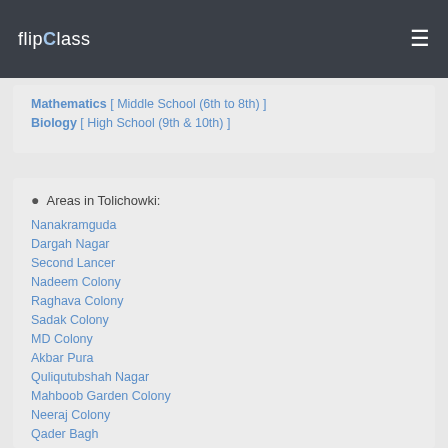flipClass [menu icon]
Mathematics [ Middle School (6th to 8th) ]
Biology [ High School (9th & 10th) ]
Areas in Tolichowki:
Nanakramguda
Dargah Nagar
Second Lancer
Nadeem Colony
Raghava Colony
Sadak Colony
MD Colony
Akbar Pura
Quliqutubshah Nagar
Mahboob Garden Colony
Neeraj Colony
Qader Bagh